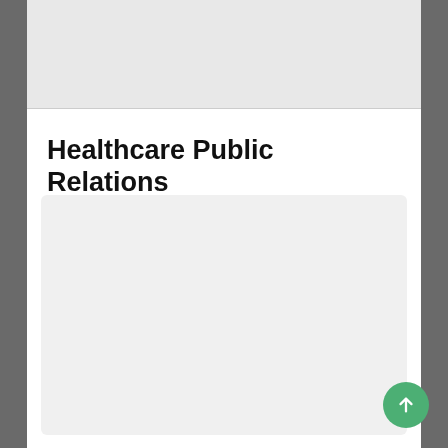[Figure (photo): Dark blurred background photo visible on left and right sides of the page]
Healthcare Public Relations
[Figure (other): Light gray rectangular content area box below the title]